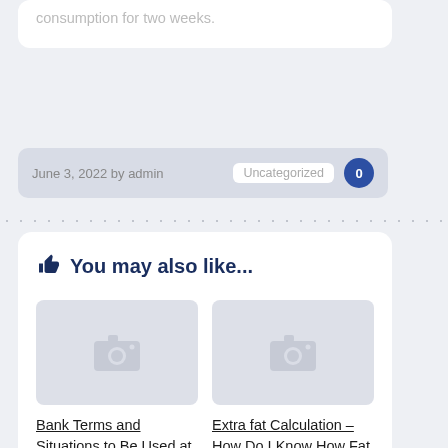consumption for two weeks.
June 3, 2022 by admin  Uncategorized  0
👍 You may also like...
[Figure (photo): Placeholder image thumbnail for article 1]
[Figure (photo): Placeholder image thumbnail for article 2]
Bank Terms and Situations to Be Used at Casinos Online
Extra fat Calculation – How Do I Know How Fat I will be